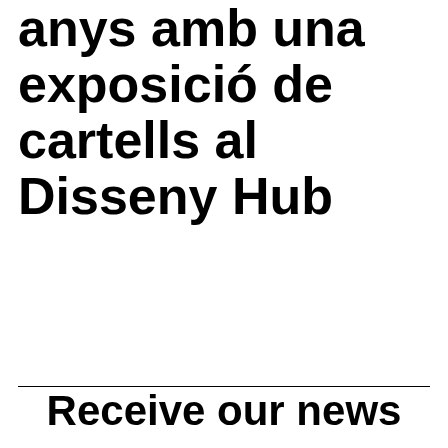anys amb una exposició de cartells al Disseny Hub
Receive our news every